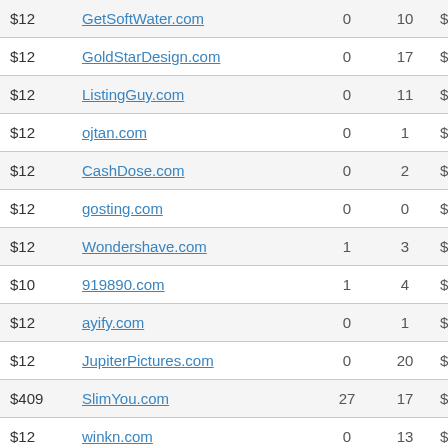| Price | Domain | Col3 | Col4 | Value |
| --- | --- | --- | --- | --- |
| $12 | GetSoftWater.com | 0 | 10 | $1600 |
| $12 | GoldStarDesign.com | 0 | 17 | $1463 |
| $12 | ListingGuy.com | 0 | 11 | $1631 |
| $12 | ojtan.com | 0 | 1 | $1494 |
| $12 | CashDose.com | 0 | 2 | $1863 |
| $12 | gosting.com | 0 | 0 | $1998 |
| $12 | Wondershave.com | 1 | 3 | $1188 |
| $10 | 919890.com | 1 | 4 | $350 |
| $12 | ayify.com | 0 | 1 | $1009 |
| $12 | JupiterPictures.com | 0 | 20 | $2265 |
| $409 | SlimYou.com | 27 | 17 | $4283 |
| $12 | winkn.com | 0 | 13 | $1682 |